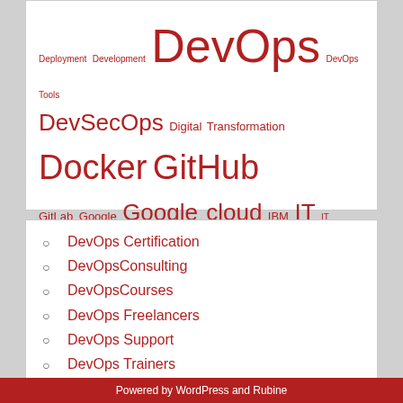[Figure (infographic): Tag cloud with various IT/DevOps-related tags in varying font sizes, all in red/crimson color. Includes terms like DevOps (largest), Software-Market, Kubernetes, Microsoft, Docker, GitHub, Software Development, DevSecOps, IT technology, Google cloud, and many others at smaller sizes.]
DevOps Certification
DevOpsConsulting
DevOpsCourses
DevOps Freelancers
DevOps Support
DevOps Trainers
DevOps training
Powered by WordPress and Rubine